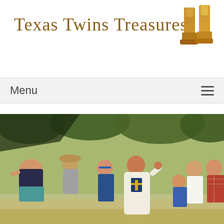[Figure (logo): Texas Twins Treasures logo with cursive brown text and cowboy boots image on the right]
Menu
[Figure (photo): Outdoor ceremony photo showing a person in a white religious robe with a cross symbol, surrounded by a group of people in a park or outdoor venue with trees in the background]